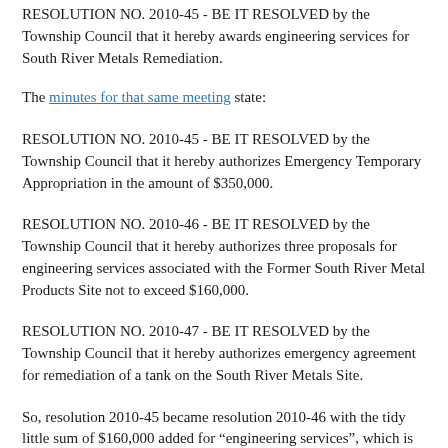RESOLUTION NO. 2010-45 - BE IT RESOLVED by the Township Council that it hereby awards engineering services for South River Metals Remediation.
The minutes for that same meeting state:
RESOLUTION NO. 2010-45 - BE IT RESOLVED by the Township Council that it hereby authorizes Emergency Temporary Appropriation in the amount of $350,000.
RESOLUTION NO. 2010-46 - BE IT RESOLVED by the Township Council that it hereby authorizes three proposals for engineering services associated with the Former South River Metal Products Site not to exceed $160,000.
RESOLUTION NO. 2010-47 - BE IT RESOLVED by the Township Council that it hereby authorizes emergency agreement for remediation of a tank on the South River Metals Site.
So, resolution 2010-45 became resolution 2010-46 with the tidy little sum of $160,000 added for “engineering services”, which is just a euphemism for GME, the council’s largest...